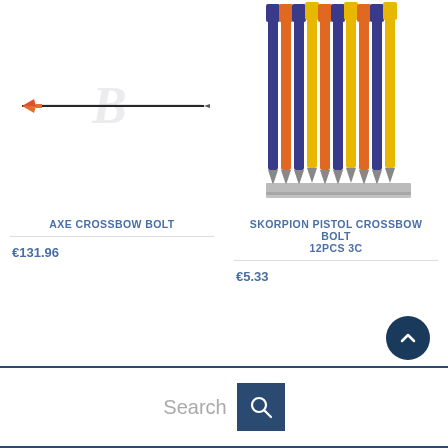[Figure (photo): AXE Crossbow bolt arrow, horizontal, with red/orange fletching, thin black shaft]
AXE CROSSBOW BOLT
€131.96
[Figure (photo): Skorpion pistol crossbow bolts bundle of 12, arrows with blue, orange, and yellow shafts with metal tips, standing upright]
SKORPION PISTOL CROSSBOW BOLT 12PCS 3C
€5.33
[Figure (other): Dark navy circle scroll-to-top button with upward chevron icon]
Search [magnifying glass icon]